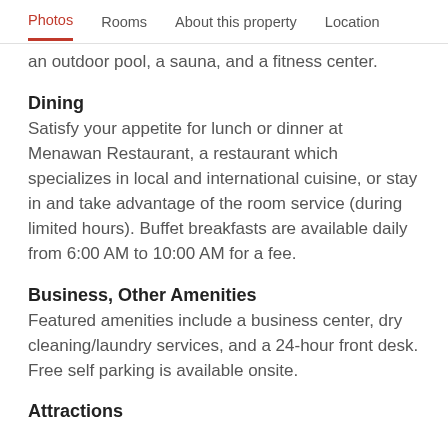Photos  Rooms  About this property  Location
an outdoor pool, a sauna, and a fitness center.
Dining
Satisfy your appetite for lunch or dinner at Menawan Restaurant, a restaurant which specializes in local and international cuisine, or stay in and take advantage of the room service (during limited hours). Buffet breakfasts are available daily from 6:00 AM to 10:00 AM for a fee.
Business, Other Amenities
Featured amenities include a business center, dry cleaning/laundry services, and a 24-hour front desk. Free self parking is available onsite.
Attractions